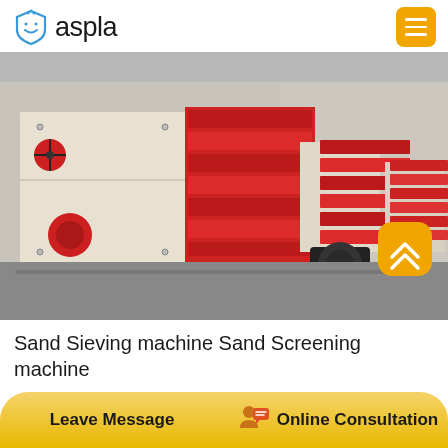aspla
[Figure (photo): Industrial sand sieving/screening machine with red and white body panels, photographed inside a large factory warehouse. Multiple units visible in a row with red corrugated side panels and red cylindrical components.]
Sand Sieving machine Sand Screening machine
Leave Message | Online Consultation